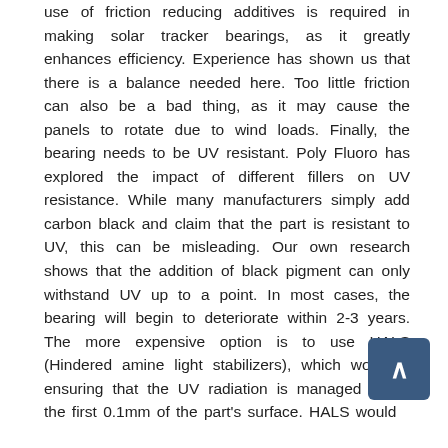use of friction reducing additives is required in making solar tracker bearings, as it greatly enhances efficiency. Experience has shown us that there is a balance needed here. Too little friction can also be a bad thing, as it may cause the panels to rotate due to wind loads. Finally, the bearing needs to be UV resistant. Poly Fluoro has explored the impact of different fillers on UV resistance. While many manufacturers simply add carbon black and claim that the part is resistant to UV, this can be misleading. Our own research shows that the addition of black pigment can only withstand UV up to a point. In most cases, the bearing will begin to deteriorate within 2-3 years. The more expensive option is to use HALS (Hindered amine light stabilizers), which work by ensuring that the UV radiation is managed within the first 0.1mm of the part's surface. HALS would